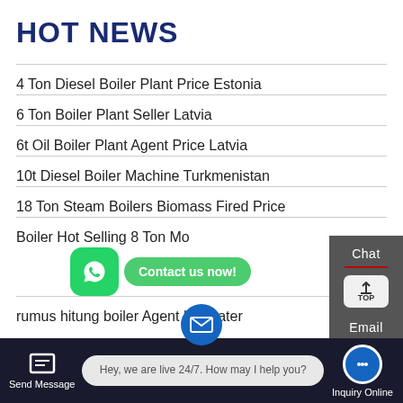HOT NEWS
4 Ton Diesel Boiler Plant Price Estonia
6 Ton Boiler Plant Seller Latvia
6t Oil Boiler Plant Agent Price Latvia
10t Diesel Boiler Machine Turkmenistan
18 Ton Steam Boilers Biomass Fired Price
Boiler Hot Selling 8 Ton Mo...
rumus hitung boiler Agent hot water
Send Message   Hey, we are live 24/7. How may I help you?   Inquiry Online